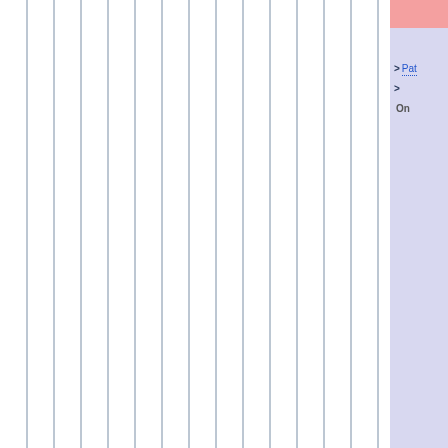[Figure (other): Main content area with vertical column lines/dividers on white background, suggesting a multi-column table or chart grid]
> Pat
>
On